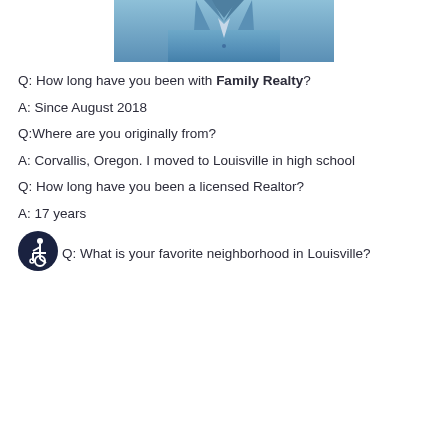[Figure (photo): Photo of a man in a blue suit jacket, cropped to show torso/chest area with outdoor background]
Q: How long have you been with Family Realty?
A: Since August 2018
Q:Where are you originally from?
A: Corvallis, Oregon. I moved to Louisville in high school
Q: How long have you been a licensed Realtor?
A: 17 years
[Figure (logo): Accessibility icon - circular dark badge with wheelchair user symbol]
Q: What is your favorite neighborhood in Louisville?